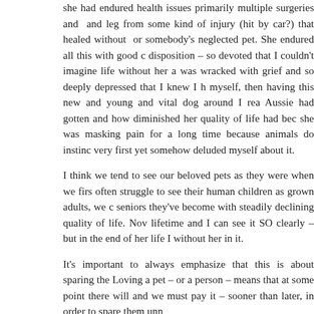she had endured health issues primarily multiple surgeries and leg from some kind of injury (hit by car?) that healed without or somebody's neglected pet. She endured all this with good disposition – so devoted that I couldn't imagine life without her a was wracked with grief and so deeply depressed that I knew I h myself, then having this new and young and vital dog around I rea Aussie had gotten and how diminished her quality of life had bec she was masking pain for a long time because animals do instinc very first yet somehow deluded myself about it.
I think we tend to see our beloved pets as they were when we firs often struggle to see their human children as grown adults, we c seniors they've become with steadily declining quality of life. Nov lifetime and I can see it SO clearly – but in the end of her life I without her in it.
It's important to always emphasize that this is about sparing the Loving a pet – or a person – means that at some point there will and we must pay it – sooner than later, in order to spare them unn
Reply
Melinda   December 15, 2019 at 7:37 pm
This is so true: "It's important to always emphasize that this is sparing us grief."